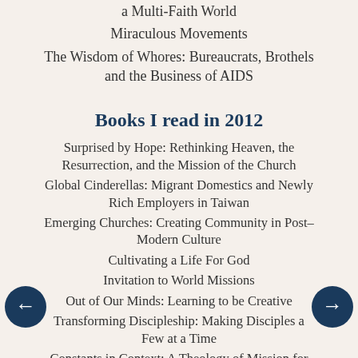a Multi-Faith World
Miraculous Movements
The Wisdom of Whores: Bureaucrats, Brothels and the Business of AIDS
Books I read in 2012
Surprised by Hope: Rethinking Heaven, the Resurrection, and the Mission of the Church
Global Cinderellas: Migrant Domestics and Newly Rich Employers in Taiwan
Emerging Churches: Creating Community in Post–Modern Culture
Cultivating a Life For God
Invitation to World Missions
Out of Our Minds: Learning to be Creative
Transforming Discipleship: Making Disciples a Few at a Time
Constants in Context: A Theology of Mission for Today